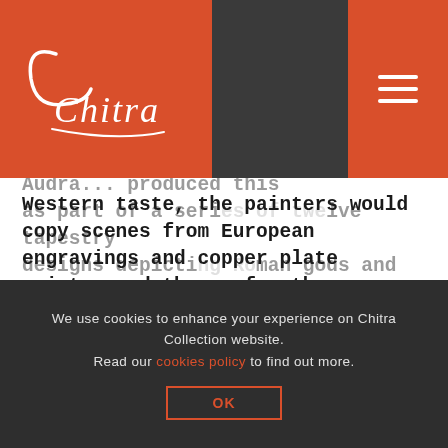[Figure (logo): Chitra Collection logo in white script on red background, top left corner]
[Figure (other): Hamburger menu icon (three white horizontal lines) on red background, top right corner]
Western taste, the painters would copy scenes from European engravings and copper plate prints, and themes for these wares were often mythological or taken from classical antiquity. The saucer depicts a crowned Juno, the Ancient Roman goddess of marriage and childbirth. She holds a lotus-tipped sceptre and is seated on a cloud beside her sacred animal, the peacock. The design is based on an engraving by the
Audran... produced this as part of a series of twelve tapestry designs depicti... gods and
We use cookies to enhance your experience on Chitra Collection website. Read our cookies policy to find out more.
OK